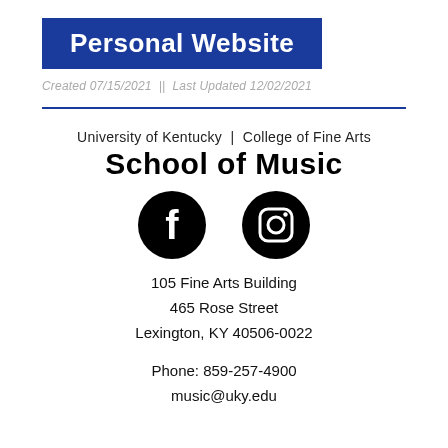Personal Website
Created 07/15/2021  ||  Last Updated 12/02/2021
University of Kentucky  |  College of Fine Arts
School of Music
[Figure (logo): Facebook and Instagram social media icons (black circles with white logos)]
105 Fine Arts Building
465 Rose Street
Lexington, KY 40506-0022
Phone: 859-257-4900
music@uky.edu